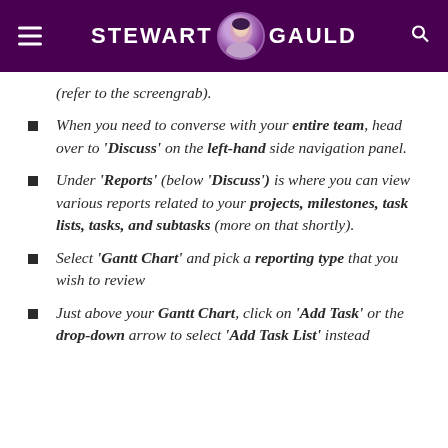STEWART GAULD
(refer to the screengrab).
When you need to converse with your entire team, head over to 'Discuss' on the left-hand side navigation panel.
Under 'Reports' (below 'Discuss') is where you can view various reports related to your projects, milestones, task lists, tasks, and subtasks (more on that shortly).
Select 'Gantt Chart' and pick a reporting type that you wish to review
Just above your Gantt Chart, click on 'Add Task' or the drop-down arrow to select 'Add Task List' instead